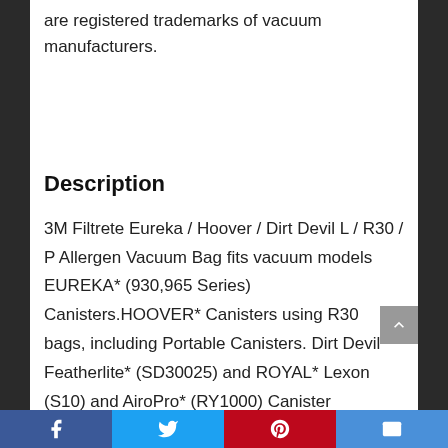are registered trademarks of vacuum manufacturers.
Description
3M Filtrete Eureka / Hoover / Dirt Devil L / R30 / P Allergen Vacuum Bag fits vacuum models EUREKA* (930,965 Series) Canisters.HOOVER* Canisters using R30 bags, including Portable Canisters. Dirt Devil* Featherlite* (SD30025) and ROYAL* Lexon (S10) and AiroPro* (RY1000) Canister Vacuums.